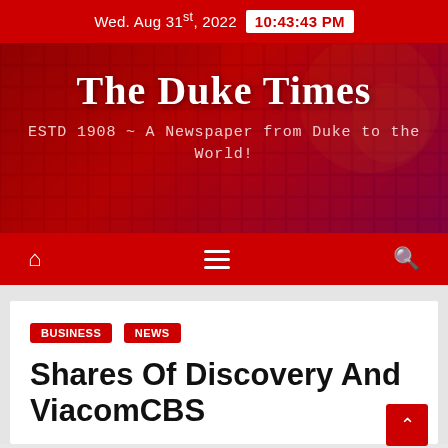Wed. Aug 31st, 2022  10:43:43 PM
[Figure (illustration): The Duke Times newspaper banner with red/dark grid background pattern, white bold title 'The Duke Times' and tagline 'ESTD 1908 ~ A Newspaper from Duke to the World!']
The Duke Times
ESTD 1908 ~ A Newspaper from Duke to the World!
BUSINESS  NEWS
Shares Of Discovery And ViacomCBS